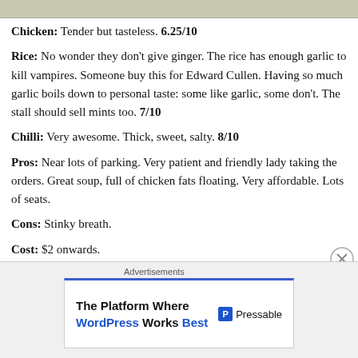[Figure (photo): Top strip of a food photo, partially cropped]
Chicken: Tender but tasteless. 6.25/10
Rice: No wonder they don't give ginger. The rice has enough garlic to kill vampires. Someone buy this for Edward Cullen. Having so much garlic boils down to personal taste: some like garlic, some don't. The stall should sell mints too. 7/10
Chilli: Very awesome. Thick, sweet, salty. 8/10
Pros: Near lots of parking. Very patient and friendly lady taking the orders. Great soup, full of chicken fats floating. Very affordable. Lots of seats.
Cons: Stinky breath.
Cost: $2 onwards.
Rating: 7.083
[Figure (screenshot): Advertisement banner: The Platform Where WordPress Works Best - Pressable]